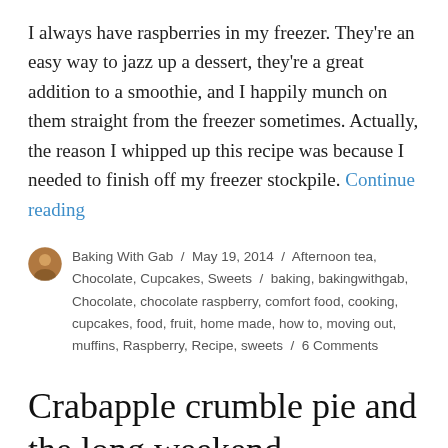I always have raspberries in my freezer. They're an easy way to jazz up a dessert, they're a great addition to a smoothie, and I happily munch on them straight from the freezer sometimes. Actually, the reason I whipped up this recipe was because I needed to finish off my freezer stockpile. Continue reading
Baking With Gab / May 19, 2014 / Afternoon tea, Chocolate, Cupcakes, Sweets / baking, bakingwithgab, Chocolate, chocolate raspberry, comfort food, cooking, cupcakes, food, fruit, home made, how to, moving out, muffins, Raspberry, Recipe, sweets / 6 Comments
Crabapple crumble pie and the long weekend